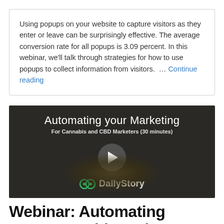Using popups on your website to capture visitors as they enter or leave can be surprisingly effective. The average conversion rate for all popups is 3.09 percent. In this webinar, we'll talk through strategies for how to use popups to collect information from visitors.  …  Continue reading
[Figure (screenshot): Video thumbnail for 'Automating your Marketing For Cannabis and CBD Marketers (30 minutes)' with a play button and DailyStory logo on a dark background showing cannabis buds]
Webinar: Automating your Cannabis and